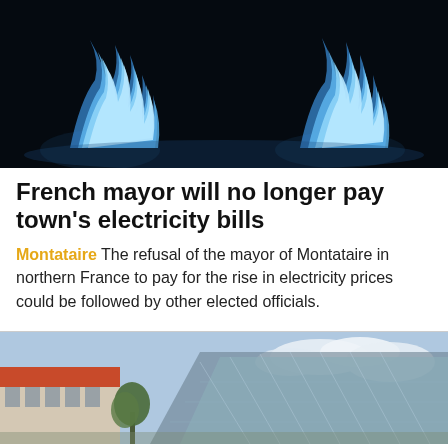[Figure (photo): Close-up photo of blue gas flames burning on a stove burner against a dark background]
French mayor will no longer pay town's electricity bills
Montataire The refusal of the mayor of Montataire in northern France to pay for the rise in electricity prices could be followed by other elected officials.
[Figure (photo): Exterior photo of a modern glass building with an older red-roofed building beside it, under a blue sky with clouds]